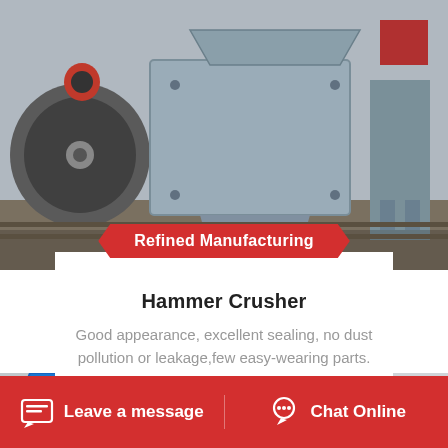[Figure (photo): Industrial hammer crusher machine with large flywheel visible, gray metal housing, photographed in a factory/workshop setting]
Refined Manufacturing
Hammer Crusher
Good appearance, excellent sealing, no dust pollution or leakage,few easy-wearing parts.
→ Read More
[Figure (photo): Blue and red industrial equipment (possibly a vibrating feeder or conveyor), partially visible from below, with a building in background]
Leave a message   Chat Online